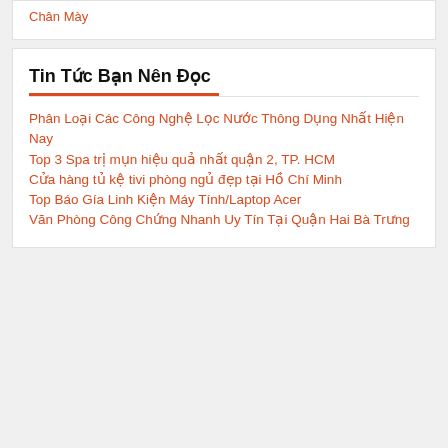Chân Mày
Tin Tức Bạn Nên Đọc
Phân Loại Các Công Nghệ Lọc Nước Thông Dụng Nhất Hiện Nay
Top 3 Spa trị mụn hiệu quả nhất quận 2, TP. HCM
Cửa hàng tủ kệ tivi phòng ngủ đẹp tại Hồ Chí Minh
Top Báo Gía Linh Kiện Máy Tính/Laptop Acer
Văn Phòng Công Chứng Nhanh Uy Tín Tại Quận Hai Bà Trưng